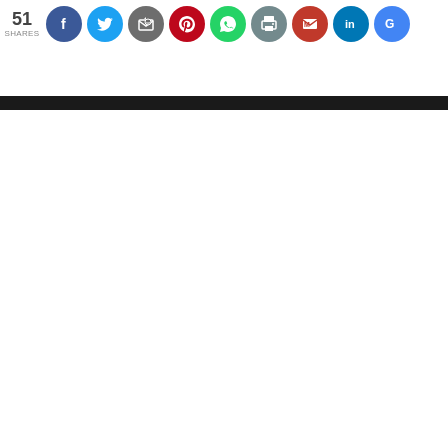[Figure (infographic): Social share bar showing 51 SHARES count followed by circular social media icons: Facebook (blue), Twitter (light blue), Email/newsletter (dark grey), Pinterest (red), WhatsApp (green), Print (grey-blue), Gmail (red), LinkedIn (blue), Google (blue)]